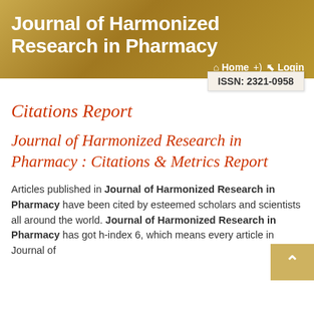Journal of Harmonized Research in Pharmacy
🏠 Home  ➡ Login
ISSN: 2321-0958
Citations Report
Journal of Harmonized Research in Pharmacy : Citations & Metrics Report
Articles published in Journal of Harmonized Research in Pharmacy have been cited by esteemed scholars and scientists all around the world. Journal of Harmonized Research in Pharmacy has got h-index 6, which means every article in Journal of